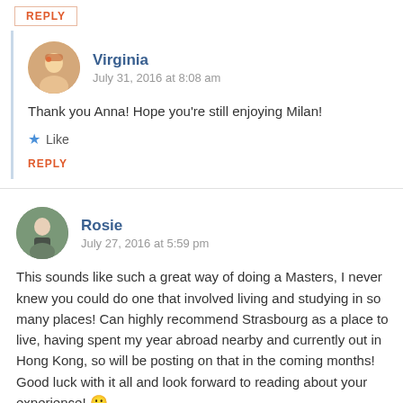REPLY
Virginia
July 31, 2016 at 8:08 am
Thank you Anna! Hope you're still enjoying Milan!
Like
REPLY
Rosie
July 27, 2016 at 5:59 pm
This sounds like such a great way of doing a Masters, I never knew you could do one that involved living and studying in so many places! Can highly recommend Strasbourg as a place to live, having spent my year abroad nearby and currently out in Hong Kong, so will be posting on that in the coming months! Good luck with it all and look forward to reading about your experience! 🙂